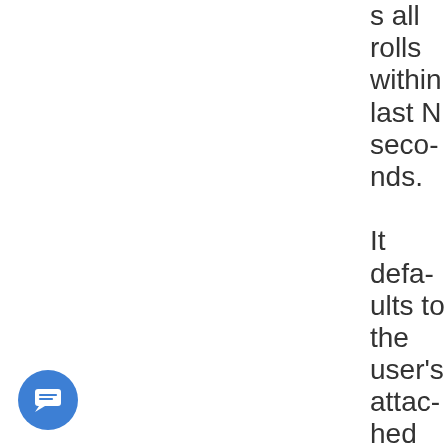s all rolls within last N seconds. It defaults to the user's attached Actor
[Figure (other): Blue circular chat button with a message/text icon in white, positioned in bottom-left corner]